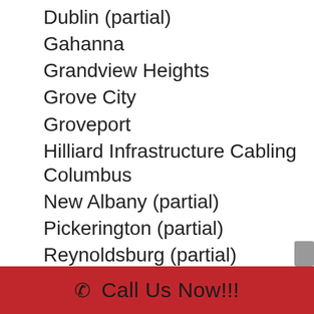Dublin (partial)
Gahanna
Grandview Heights
Grove City
Groveport
Hilliard Infrastructure Cabling Columbus
New Albany (partial)
Pickerington (partial)
Reynoldsburg (partial)
Upper Arlington
Westerville (partial)
Whitehall
Worthington
Villages
Blacklick
☎ Call Us Now!!!